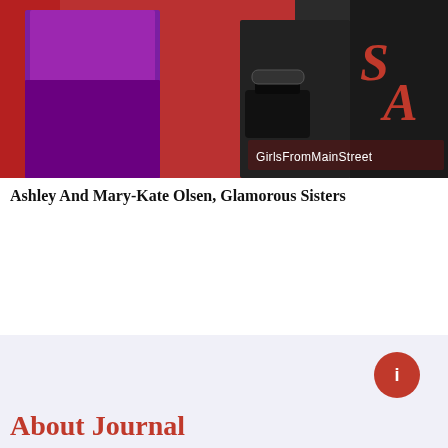[Figure (photo): Two women (Ashley and Mary-Kate Olsen) posing on a red carpet in front of a SWAROVSKI backdrop with a red and white logo. One wears a purple/magenta outfit, the other is in black carrying a black handbag. A 'GirlsFromMainStreet' watermark is overlaid at the bottom right.]
Ashley And Mary-Kate Olsen, Glamorous Sisters
About Journal